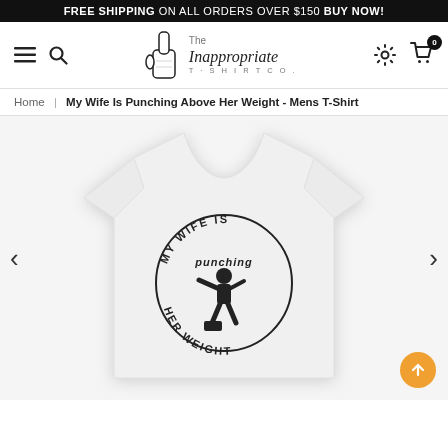FREE SHIPPING ON ALL ORDERS OVER $150 BUY NOW!
[Figure (logo): The Inappropriate T-shirt Co. logo with a hand giving middle finger]
Home | My Wife Is Punching Above Her Weight - Mens T-Shirt
[Figure (photo): White mens t-shirt with circular graphic text 'my wife is punching above her weight' and silhouette of boxer]